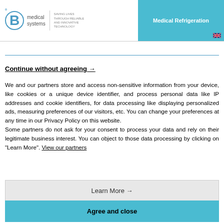B medical systems — Medical Refrigeration
Continue without agreeing →
We and our partners store and access non-sensitive information from your device, like cookies or a unique device identifier, and process personal data like IP addresses and cookie identifiers, for data processing like displaying personalized ads, measuring preferences of our visitors, etc. You can change your preferences at any time in our Privacy Policy on this website. Some partners do not ask for your consent to process your data and rely on their legitimate business interest. You can object to those data processing by clicking on "Learn More". View our partners
Learn More →
Agree and close